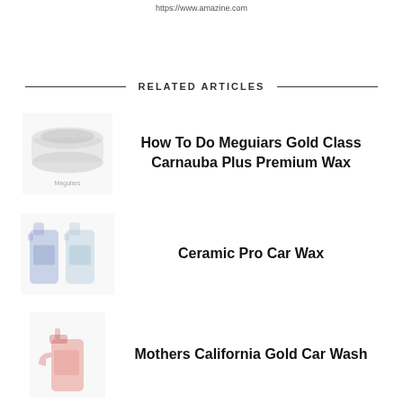https://www.amazine.com
RELATED ARTICLES
[Figure (photo): Faded thumbnail of Meguiars Gold Class Carnauba Plus Premium Wax product]
How To Do Meguiars Gold Class Carnauba Plus Premium Wax
[Figure (photo): Faded thumbnail of two Ceramic Pro spray bottles]
Ceramic Pro Car Wax
[Figure (photo): Faded thumbnail of a red spray bottle (Mothers California Gold Car Wash)]
Mothers California Gold Car Wash